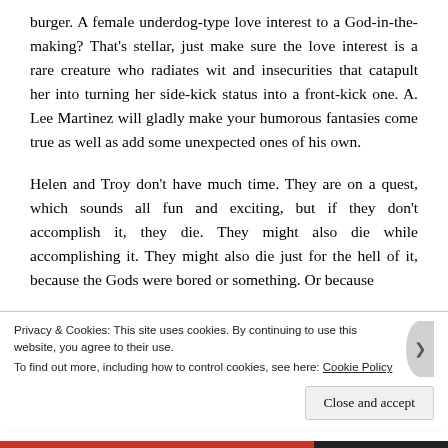burger. A female underdog-type love interest to a God-in-the-making? That's stellar, just make sure the love interest is a rare creature who radiates wit and insecurities that catapult her into turning her side-kick status into a front-kick one. A. Lee Martinez will gladly make your humorous fantasies come true as well as add some unexpected ones of his own.
Helen and Troy don't have much time. They are on a quest, which sounds all fun and exciting, but if they don't accomplish it, they die. They might also die while accomplishing it. They might also die just for the hell of it, because the Gods were bored or something. Or because
Privacy & Cookies: This site uses cookies. By continuing to use this website, you agree to their use.
To find out more, including how to control cookies, see here: Cookie Policy
Close and accept